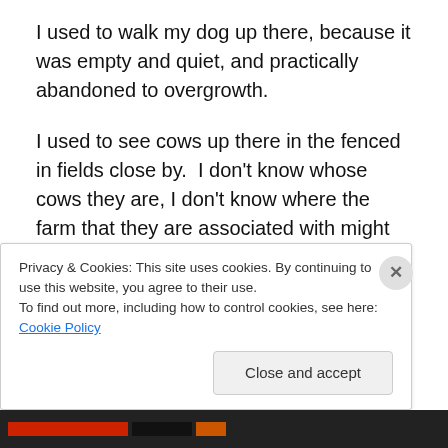I used to walk my dog up there, because it was empty and quiet, and practically abandoned to overgrowth.
I used to see cows up there in the fenced in fields close by.  I don't know whose cows they are, I don't know where the farm that they are associated with might be.
Last week, I even had my driving lesson up here.
The connecting streets that wind around this someday-to-be neighborhood were empty.
There was not another car or person in sight for over an
Privacy & Cookies: This site uses cookies. By continuing to use this website, you agree to their use.
To find out more, including how to control cookies, see here: Cookie Policy
Close and accept